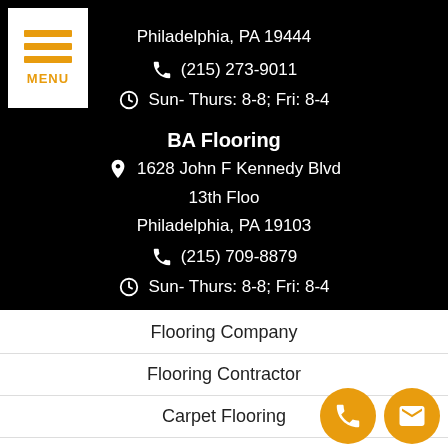Philadelphia, PA 19444
(215) 273-9011
Sun- Thurs: 8-8; Fri: 8-4
BA Flooring
1628 John F Kennedy Blvd
13th Floo
Philadelphia, PA 19103
(215) 709-8879
Sun- Thurs: 8-8; Fri: 8-4
Flooring Company
Flooring Contractor
Carpet Flooring
Vinyl Flooring